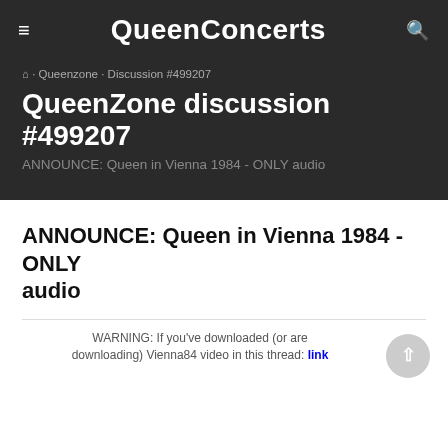QueenConcerts
⌂ · Queenzone · Discussion #499207
QueenZone discussion #499207
ANNOUNCE: Queen in Vienna 1984 - ONLY audio
ANNOUNCE: Queen in Vienna 1984 - ONLY audio
WARNING: If you've downloaded (or are downloading) Vienna84 video in this thread: link